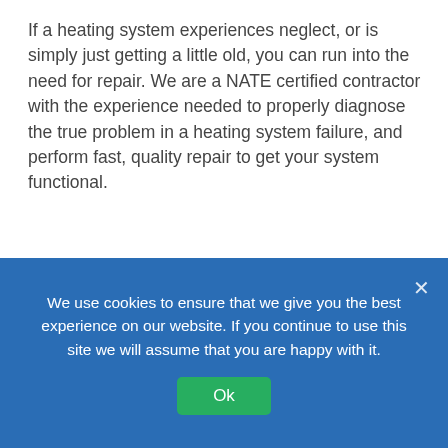If a heating system experiences neglect, or is simply just getting a little old, you can run into the need for repair. We are a NATE certified contractor with the experience needed to properly diagnose the true problem in a heating system failure, and perform fast, quality repair to get your system functional.
Duct Cleaning in City of Commerce, CA
Indoor air quality is important, and clean ducts play a role in this. Duct cleaning can also help improve the efficiency of your system. You may be surprised to see what has accumulated over the years! We provide duct cleaning
We use cookies to ensure that we give you the best experience on our website. If you continue to use this site we will assume that you are happy with it.